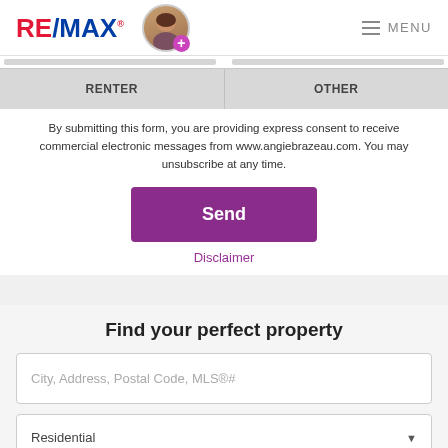[Figure (logo): RE/MAX logo in red, white and blue with trademark symbol]
[Figure (photo): Circular profile photo of a woman with brown hair, with a pink/purple plus button overlay]
MENU
RENTER
OTHER
By submitting this form, you are providing express consent to receive commercial electronic messages from www.angiebrazeau.com. You may unsubscribe at any time.
Send
Disclaimer
Find your perfect property
City, Address, Postal Code, MLS®#
Residential